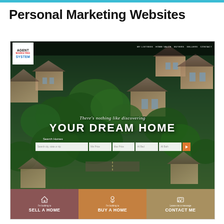Personal Marketing Websites
[Figure (screenshot): Screenshot of a real estate agent marketing website called 'Agent Marketing System'. Shows a navigation bar with logo and links (MY LISTINGS, HOME VALUE, BUYERS, SELLERS, CONTACT). Hero section with aerial photograph of a residential neighborhood with trees and houses. Large white text reads 'There's nothing like discovering YOUR DREAM HOME'. Search bar with fields: Search city, state or zip, Min Price, Max Price, All Bed, All Bath, and an orange search button. Bottom footer bar split into three colored sections: dark rose 'I'm looking to SELL A HOME', orange 'I'm looking to BUY A HOME', tan 'Leave me a message CONTACT ME'.]